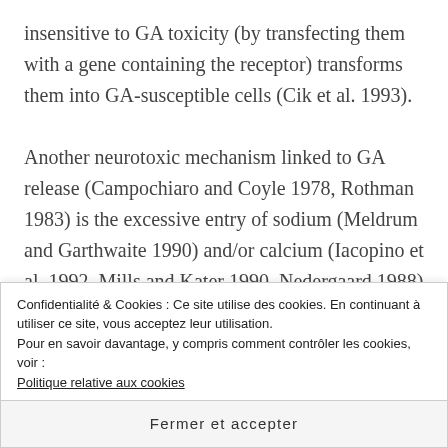insensitive to GA toxicity (by transfecting them with a gene containing the receptor) transforms them into GA-susceptible cells (Cik et al. 1993).
Another neurotoxic mechanism linked to GA release (Campochiaro and Coyle 1978, Rothman 1983) is the excessive entry of sodium (Meldrum and Garthwaite 1990) and/or calcium (Iacopino et al. 1992, Mills and Kater 1990, Nedergaard 1988) into cells, which also induces neuronal degeneration. Neuronal death, depending on the model system, results from necrosis
Confidentialité & Cookies : Ce site utilise des cookies. En continuant à utiliser ce site, vous acceptez leur utilisation.
Pour en savoir davantage, y compris comment contrôler les cookies, voir :
Politique relative aux cookies
Fermer et accepter
3 (cysteine proteases), at least for cultured cerebellar